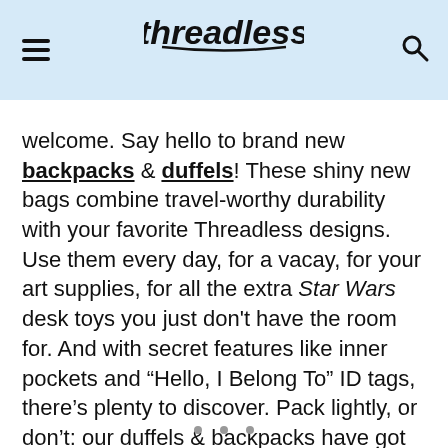Threadless
welcome. Say hello to brand new backpacks & duffels! These shiny new bags combine travel-worthy durability with your favorite Threadless designs. Use them every day, for a vacay, for your art supplies, for all the extra Star Wars desk toys you just don't have the room for. And with secret features like inner pockets and “Hello, I Belong To” ID tags, there’s plenty to discover. Pack lightly, or don’t: our duffels & backpacks have got your back! Dive in and get to know these handy new bags.